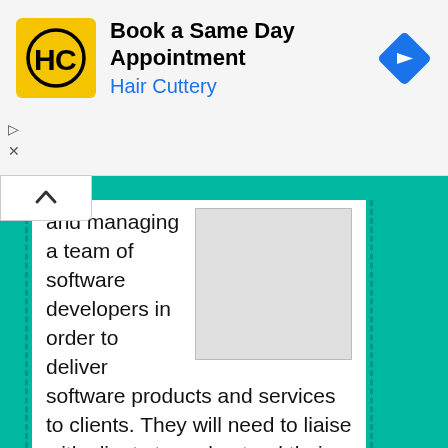[Figure (other): Hair Cuttery advertisement banner with logo, text 'Book a Same Day Appointment / Hair Cuttery', and navigation arrow icon]
and managing a team of software developers in order to deliver software products and services to clients. They will need to liaise with clients to understand their requirements, and translate these into technical specifications for the development team. The jobholder will also be responsible for managing the software development life cycle, from initial feasibility studies through to final implementation and rollout. In addition, they will need to provide support and maintenance for existing software products and services.